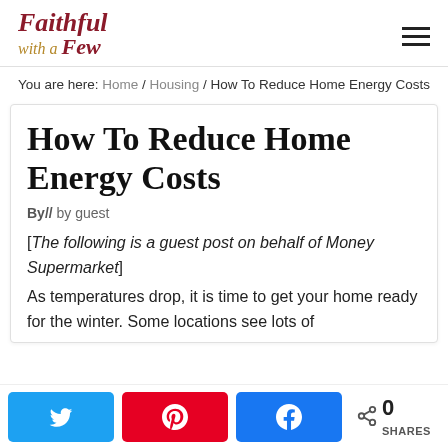Faithful with a Few
You are here: Home / Housing / How To Reduce Home Energy Costs
How To Reduce Home Energy Costs
By//  by guest
[The following is a guest post on behalf of Money Supermarket]
As temperatures drop, it is time to get your home ready for the winter. Some locations see lots of